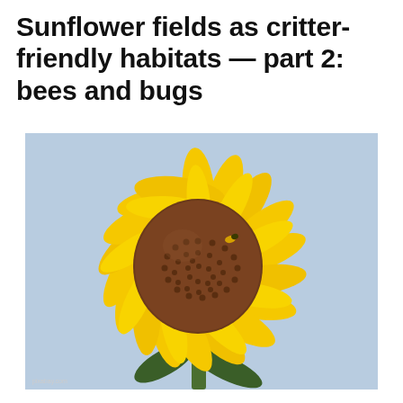Sunflower fields as critter-friendly habitats — part 2: bees and bugs
[Figure (photo): Close-up photograph of a large sunflower with bright yellow petals and a brown seeded center disk, photographed against a light blue sky with green leaves visible at the edges. A small watermark is visible in the lower-left corner.]